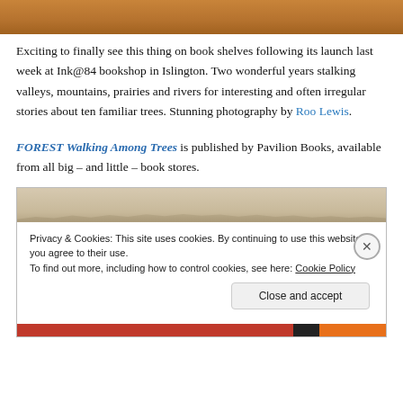[Figure (photo): Top portion of a warm brown/orange textured surface, likely fur or bark of a tree]
Exciting to finally see this thing on book shelves following its launch last week at Ink@84 bookshop in Islington. Two wonderful years stalking valleys, mountains, prairies and rivers for interesting and often irregular stories about ten familiar trees. Stunning photography by Roo Lewis.
FOREST Walking Among Trees is published by Pavilion Books, available from all big – and little – book stores.
[Figure (screenshot): Cookie consent popup over a misty forest landscape image, with Privacy & Cookies notice, Cookie Policy link, close X button, and Close and accept button]